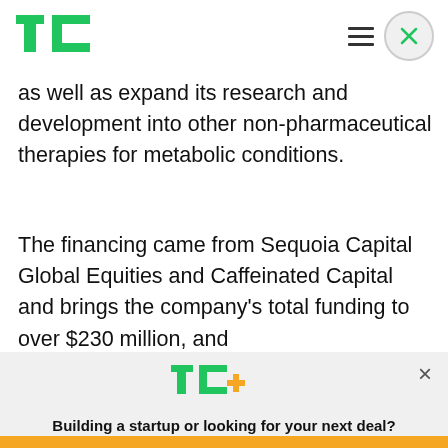TechCrunch header with logo, hamburger menu, and close button
as well as expand its research and development into other non-pharmaceutical therapies for metabolic conditions.
The financing came from Sequoia Capital Global Equities and Caffeinated Capital and brings the company’s total funding to over $230 million, and gives it a $1.1 billion valuation, according to a
[Figure (logo): TechCrunch TC+ logo with green TC and yellow plus sign]
Building a startup or looking for your next deal? We have you covered.
EXPLORE NOW